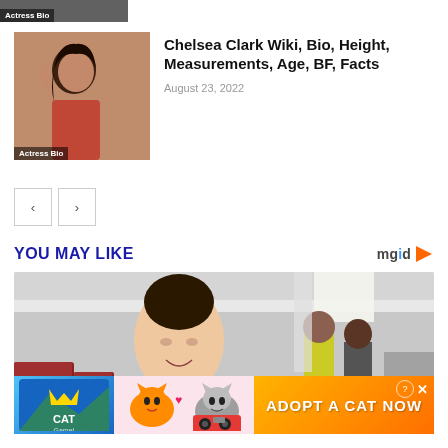[Figure (photo): Partial actress bio thumbnail strip at top]
[Figure (photo): Photo of Chelsea Clark, actress with dark hair posing with arm raised]
Chelsea Clark Wiki, Bio, Height, Measurements, Age, BF, Facts
August 23, 2022
[Figure (other): Navigation left/right arrow buttons]
YOU MAY LIKE
[Figure (photo): Woman smiling inside an airplane cabin, other passengers and crew visible in background; advertisement banner at bottom reading ADOPT A CAT NOW with Cat Game branding]